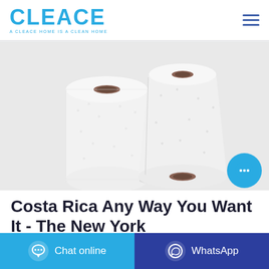[Figure (logo): CLEACE logo in blue with tagline 'A CLEACE HOME IS A CLEAN HOME']
[Figure (photo): Two white toilet paper rolls on a light gray background]
Costa Rica Any Way You Want It - The New York
[Figure (other): Cyan circular chat bubble floating button]
[Figure (other): Blue 'Chat online' button with chat icon]
[Figure (other): Dark blue 'WhatsApp' button with WhatsApp icon]